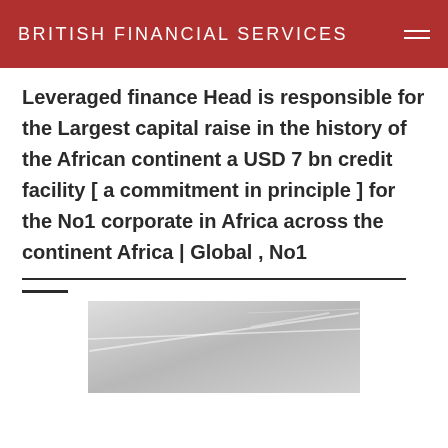BRITISH FINANCIAL SERVICES
Leveraged finance Head is responsible for the Largest capital raise in the history of the African continent a USD 7 bn credit facility [ a commitment in principle ] for the No1 corporate in Africa across the continent Africa | Global , No1
[Figure (photo): Partial view of an interior architectural space, appearing to show a ceiling or modern building interior in black and white/grayscale.]